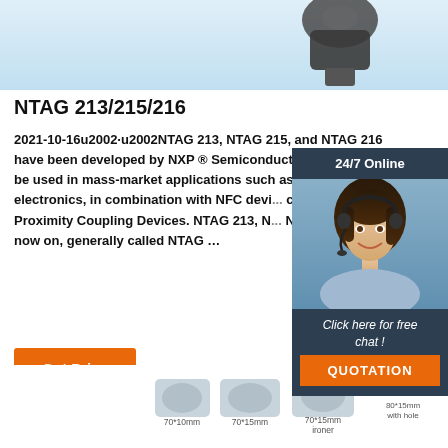[Figure (photo): Barcode/NFC scanner device against light blue background, partial view at top of page]
NTAG 213/215/216
2021-10-16u2002·u2002NTAG 213, NTAG 215, and NTAG 216 have been developed by NXP ® Semiconductors as stand... to be used in mass-market applications such as reta... consumer electronics, in combination with NFC devi... compliant Proximity Coupling Devices. NTAG 213, N... NTAG 216 (from now on, generally called NTAG ...
[Figure (photo): 24/7 Online customer service widget with woman wearing headset, dark blue background, 'Click here for free chat!' text and QUOTATION orange button]
Get Price
[Figure (photo): Product images row showing NFC tag products: 70*10mm, 70*15mm, 70*15mm ironer, 80*15mm with hole, and a TOP logo graphic in orange]